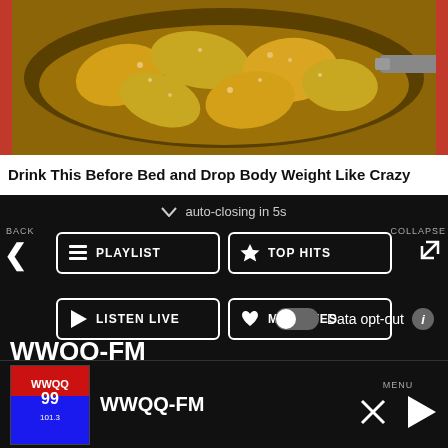[Figure (photo): Food photo showing what appears to be sliced potatoes or fruit frying in a pan with oil bubbling]
Drink This Before Bed and Drop Body Weight Like Crazy
auto-closing in 5s
BACK
PLAYLIST
TOP HITS
COLLAPSE
LISTEN LIVE
MY VOTES
CONTROLS
Data opt-out
WWQQ-FM
[Figure (logo): WWQQ-FM 101.3 radio station logo in blue and red]
WWQQ-FM
MENU